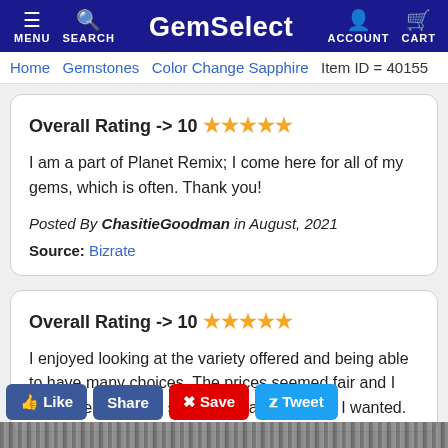GemSelect — MENU, SEARCH, ACCOUNT, CART
Home > Gemstones > Color Change Sapphire | Item ID = 40155
Overall Rating -> 10 ★★★★★

I am a part of Planet Remix; I come here for all of my gems, which is often. Thank you!

Posted By ChasitieGoodman in August, 2021

Source: Bizrate
Overall Rating -> 10 ★★★★★

I enjoyed looking at the variety offered and being able to have many choices. The prices seemed fair and I was able to get the size and shape of stone I wanted.